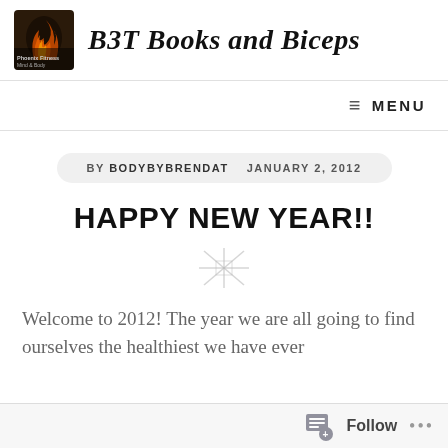B3T Books and Biceps
BY BODYBYBRENDAT   JANUARY 2, 2012
HAPPY NEW YEAR!!
Welcome to 2012!  The year we are all going to find ourselves the healthiest we have ever
Follow